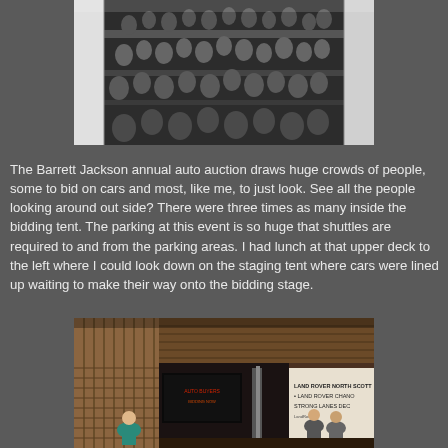[Figure (photo): Crowd of people at the Barrett Jackson auto auction event, viewed from above showing people milling around outside under a tent structure.]
The Barrett Jackson annual auto auction draws huge crowds of people, some to bid on cars and most, like me, to just look.  See all the people looking around out side?  There were three times as many inside the bidding tent.  The parking at this event is so huge that shuttles are required to and from the parking areas.  I had lunch at that upper deck to the left where I could look down on the staging tent where cars were lined up waiting to make their way onto the bidding stage.
[Figure (photo): Interior of the Barrett Jackson staging tent showing wooden slat walls, signage for Land Rover North Scott and Strong Lanes Decorative, people standing around, and industrial equipment.]